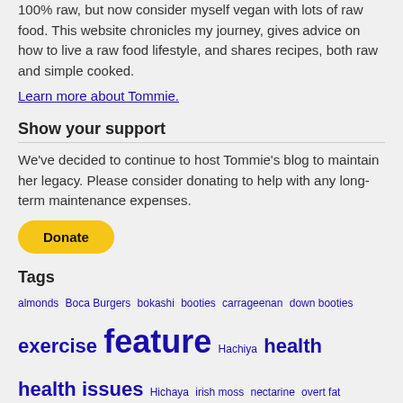100% raw, but now consider myself vegan with lots of raw food. This website chronicles my journey, gives advice on how to live a raw food lifestyle, and shares recipes, both raw and simple cooked.
Learn more about Tommie.
Show your support
We've decided to continue to host Tommie's blog to maintain her legacy. Please consider donating to help with any long-term maintenance expenses.
[Figure (other): PayPal Donate button]
Tags
almonds Boca Burgers bokashi booties carrageenan down booties exercise feature Hachiya health health issues Hichaya irish moss nectarine overt fat pineapple plum Raw Food Lifestyle raw vegan satellite smoothie Twinkle vegetarian waterbed watermelon
Disclaimer: The content found on these pages are the experiences of one individual and are not to be construed as a substitute for professional medical advice. Ads that appear on this website do not always reflect the opinions of reallyrawfood.com.
© 2005-2020 www.reallyrawfood.com | Privacy Policy